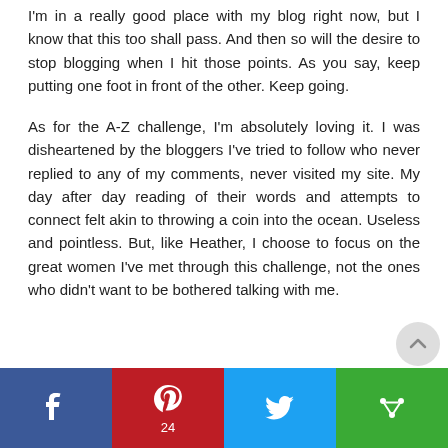I'm in a really good place with my blog right now, but I know that this too shall pass. And then so will the desire to stop blogging when I hit those points. As you say, keep putting one foot in front of the other. Keep going.
As for the A-Z challenge, I'm absolutely loving it. I was disheartened by the bloggers I've tried to follow who never replied to any of my comments, never visited my site. My day after day reading of their words and attempts to connect felt akin to throwing a coin into the ocean. Useless and pointless. But, like Heather, I choose to focus on the great women I've met through this challenge, not the ones who didn't want to be bothered talking with me.
[Figure (infographic): Social sharing bar with four buttons: Facebook (blue), Pinterest (red), Twitter (light blue), More sharing options (green with lock icon). Pinterest shows count of 24.]